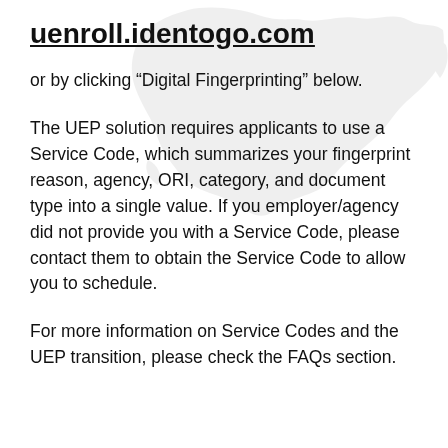uenroll.identogo.com
or by clicking “Digital Fingerprinting” below.
The UEP solution requires applicants to use a Service Code, which summarizes your fingerprint reason, agency, ORI, category, and document type into a single value. If you employer/agency did not provide you with a Service Code, please contact them to obtain the Service Code to allow you to schedule.
For more information on Service Codes and the UEP transition, please check the FAQs section.